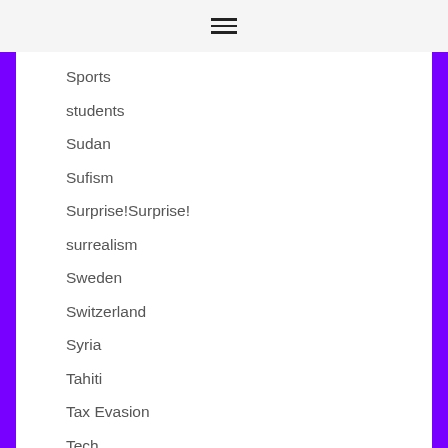☰
Sports
students
Sudan
Sufism
Surprise!Surprise!
surrealism
Sweden
Switzerland
Syria
Tahiti
Tax Evasion
Tech
Theatre